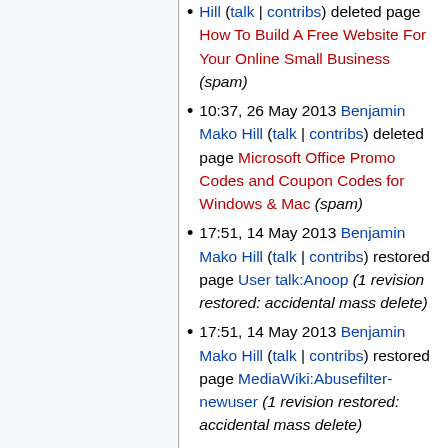Hill (talk | contribs) deleted page How To Build A Free Website For Your Online Small Business (spam)
10:37, 26 May 2013 Benjamin Mako Hill (talk | contribs) deleted page Microsoft Office Promo Codes and Coupon Codes for Windows & Mac (spam)
17:51, 14 May 2013 Benjamin Mako Hill (talk | contribs) restored page User talk:Anoop (1 revision restored: accidental mass delete)
17:51, 14 May 2013 Benjamin Mako Hill (talk | contribs) restored page MediaWiki:Abusefilter-newuser (1 revision restored: accidental mass delete)
17:50, 14 May 2013 Benjamin Mako Hill (talk | contribs) deleted page User:VernellEl (Mass deletion of